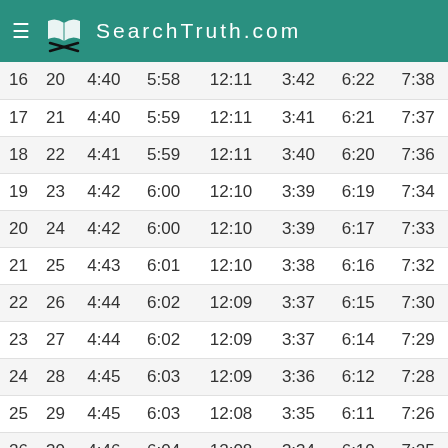SearchTruth.com
| 16 | 20 | 4:40 | 5:58 | 12:11 | 3:42 | 6:22 | 7:38 |
| 17 | 21 | 4:40 | 5:59 | 12:11 | 3:41 | 6:21 | 7:37 |
| 18 | 22 | 4:41 | 5:59 | 12:11 | 3:40 | 6:20 | 7:36 |
| 19 | 23 | 4:42 | 6:00 | 12:10 | 3:39 | 6:19 | 7:34 |
| 20 | 24 | 4:42 | 6:00 | 12:10 | 3:39 | 6:17 | 7:33 |
| 21 | 25 | 4:43 | 6:01 | 12:10 | 3:38 | 6:16 | 7:32 |
| 22 | 26 | 4:44 | 6:02 | 12:09 | 3:37 | 6:15 | 7:30 |
| 23 | 27 | 4:44 | 6:02 | 12:09 | 3:37 | 6:14 | 7:29 |
| 24 | 28 | 4:45 | 6:03 | 12:09 | 3:36 | 6:12 | 7:28 |
| 25 | 29 | 4:45 | 6:03 | 12:08 | 3:35 | 6:11 | 7:26 |
| 26 | 30 | 4:46 | 6:04 | 12:08 | 3:34 | 6:10 | 7:25 |